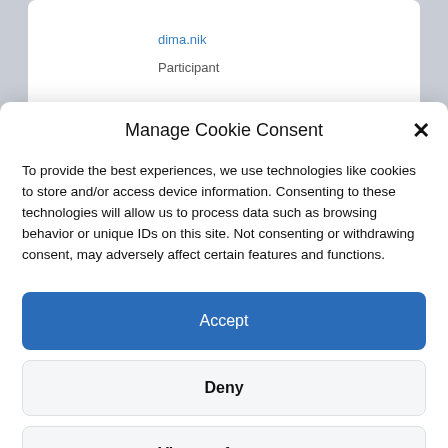dima.nik
Participant
Manage Cookie Consent
To provide the best experiences, we use technologies like cookies to store and/or access device information. Consenting to these technologies will allow us to process data such as browsing behavior or unique IDs on this site. Not consenting or withdrawing consent, may adversely affect certain features and functions.
Accept
Deny
View preferences
About & Impressum & Privacy Policy
About & Impressum & Privacy Policy
About & Impressum & Privacy Policy